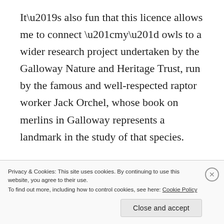It’s also fun that this licence allows me to connect “my” owls to a wider research project undertaken by the Galloway Nature and Heritage Trust, run by the famous and well-respected raptor worker Jack Orchel, whose book on merlins in Galloway represents a landmark in the study of that species.

One of my best owl boxes hangs in the shed where the bull lives, and over the last few weeks it has steadily become more obvious that birds are making active use
Privacy & Cookies: This site uses cookies. By continuing to use this website, you agree to their use.
To find out more, including how to control cookies, see here: Cookie Policy